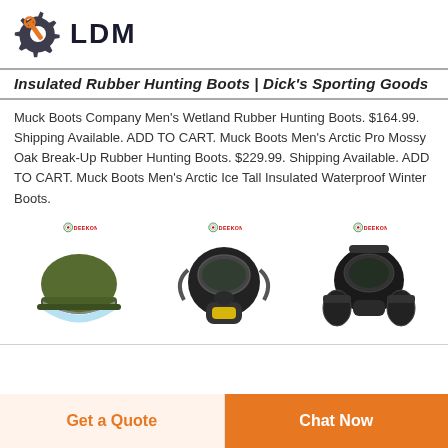LDM
Insulated Rubber Hunting Boots | Dick's Sporting Goods
Muck Boots Company Men's Wetland Rubber Hunting Boots. $164.99. Shipping Available. ADD TO CART. Muck Boots Men's Arctic Pro Mossy Oak Break-Up Rubber Hunting Boots. $229.99. Shipping Available. ADD TO CART. Muck Boots Men's Arctic Ice Tall Insulated Waterproof Winter Boots.
[Figure (photo): Three military/tactical helmet and gas mask products shown side by side, each with a DEEKON logo badge above. Left: olive green riot helmet with visor. Center: black full-face gas mask with dual filter. Right: black full-face gas mask with dual side canisters.]
Get a Quote
Chat Now